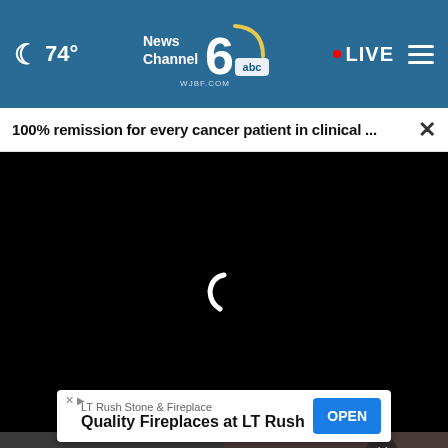74° NewsChannel 6 WJBF.COM abc LIVE
100% remission for every cancer patient in clinical ... ×
[Figure (screenshot): Black video player area with a loading spinner (partial white arc) in the center]
[Figure (screenshot): Bottom thumbnail images partially visible — left shows dark/gold object, right shows crowd with 'University of' text overlay and a circle X button]
LT Rush Stone & Fireplace
Quality Fireplaces at LT Rush
OPEN